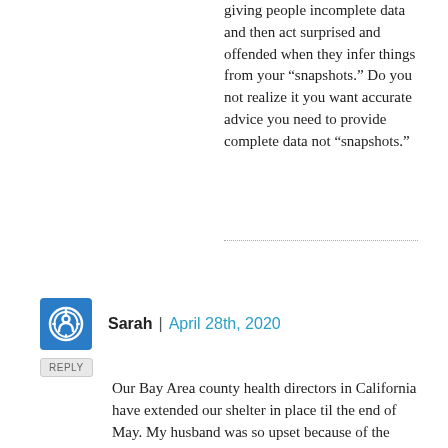giving people incomplete data and then act surprised and offended when they infer things from your “snapshots.” Do you not realize it you want accurate advice you need to provide complete data not “snapshots.”
Sarah | April 28th, 2020
Our Bay Area county health directors in California have extended our shelter in place til the end of May. My husband was so upset because of the economy. I’m hoping they did it so they can plan a systematic reopening. They have been smart about this so far. We are still hoarding cash and I